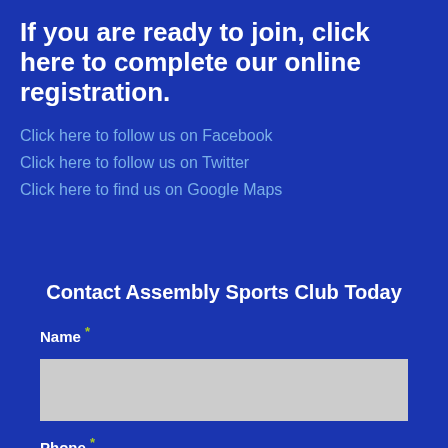If you are ready to join, click here to complete our online registration.
Click here to follow us on Facebook
Click here to follow us on Twitter
Click here to find us on Google Maps
Contact Assembly Sports Club Today
Name *
Phone *